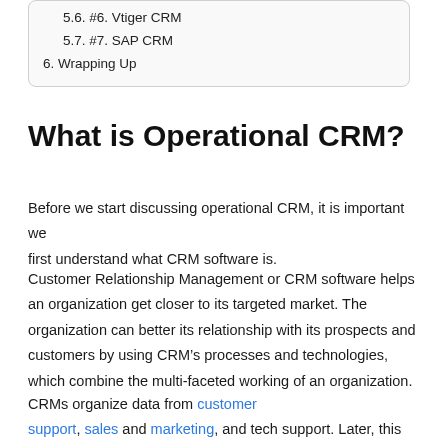5.6. #6. Vtiger CRM
5.7. #7. SAP CRM
6. Wrapping Up
What is Operational CRM?
Before we start discussing operational CRM, it is important we first understand what CRM software is.
Customer Relationship Management or CRM software helps an organization get closer to its targeted market. The organization can better its relationship with its prospects and customers by using CRM’s processes and technologies, which combine the multi-faceted working of an organization.
CRMs organize data from customer support, sales and marketing, and tech support. Later, this data can be used to formulate and monitor strategies.